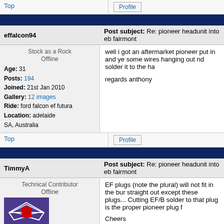Top
Profile
effalcon94
Post subject: Re: pioneer headunit into eb fairmont
Stock as a Rock
Offline
Age: 31
Posts: 194
Joined: 21st Jan 2010
Gallery: 12 images
Ride: ford falcon ef futura
Location: adelaide
SA, Australia
well i got an aftermarket pioneer put in and ye some wires hanging out nd solder it to the ha

regards anthony
Top
Profile
TimmyA
Post subject: Re: pioneer headunit into eb fairmont
Technical Contributor
Offline
Age: 32
Posts: 3714
Joined: 27th Sep 2006
Gallery: 20 images
Ride: ED Falcon
Power: 133 rwkw
EF plugs (note the plural) will not fit in the bur straight out except these plugs... Cutting EF/B solder to that plug is the proper pioneer plug f

Cheers
93 Red ED 5spd Manual Build Thread